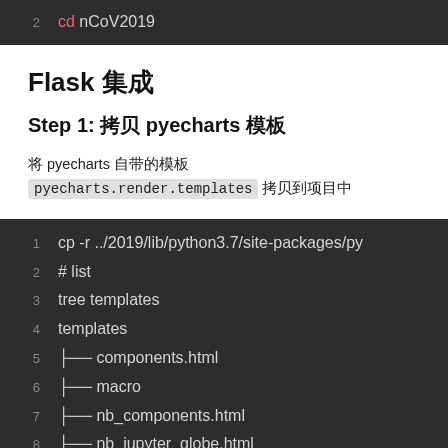2   cd nCoV2019
Flask 集成
Step 1: 拷贝 pyecharts 模板
将 pyecharts 自带的模板 pyecharts.render.templates 拷贝到项目中
1  cp -r ../2019/lib/python3.7/site-packages/py
2  # list
3  tree templates
4  templates
5  ├── components.html
6  ├── macro
7  ├── nb_components.html
8  ├── nb_jupyter_globe.html
9  ├── nb_jupyter_lab.html
10 ├── nb_jupyter_lab_tab.html
11 ├── nb_jupyter_notebook.html